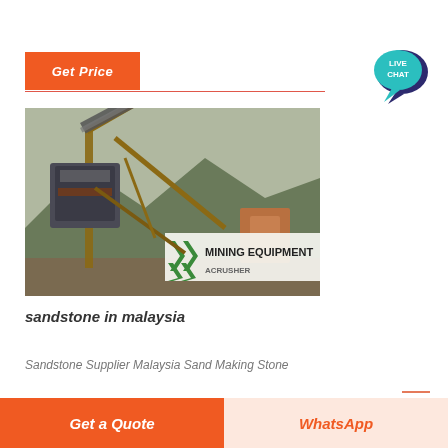Get Price
[Figure (photo): Mining equipment / crusher machine with conveyor belts and steel framework, outdoors in a mountainous setting. A banner reads 'MINING EQUIPMENT ACRUSHER' with green chevrons.]
sandstone in malaysia
Sandstone Supplier Malaysia Sand Making Stone
Get a Quote
WhatsApp